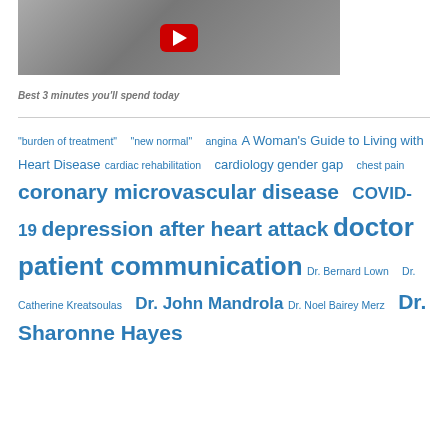[Figure (screenshot): YouTube video thumbnail showing a kitchen scene with a red YouTube play button overlay]
Best 3 minutes you'll spend today
"burden of treatment" "new normal" angina A Woman's Guide to Living with Heart Disease cardiac rehabilitation cardiology gender gap chest pain coronary microvascular disease COVID-19 depression after heart attack doctor patient communication Dr. Bernard Lown Dr. Catherine Kreatsoulas Dr. John Mandrola Dr. Noel Bairey Merz Dr. Sharonne Hayes